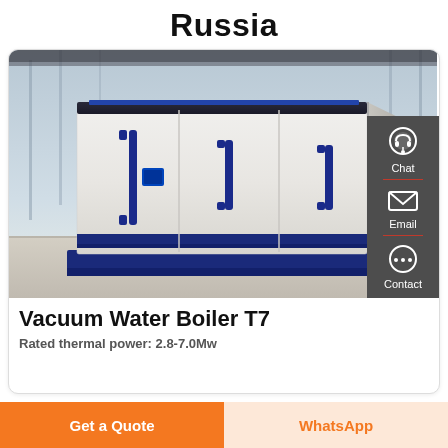Russia
[Figure (photo): Large white and blue industrial vacuum water boiler unit (Vacuum Water Boiler T7) displayed indoors in a modern facility with glass walls background.]
Vacuum Water Boiler T7
Rated thermal power: 2.8-7.0Mw
Get a Quote
WhatsApp